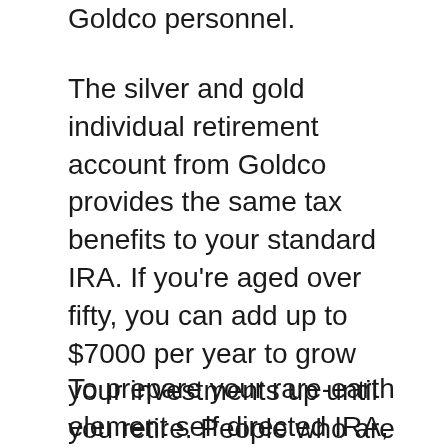Goldco personnel.
The silver and gold individual retirement account from Goldco provides the same tax benefits to your standard IRA. If you're aged over fifty, you can add up to $7000 per year to grow your investments up until you retire. People who are aged below fifty can fund their make up as much as $6000 each year. These funds can be taken out once you are fifty-nine-and-a-half years of ages, with no charge fees being applied.
To prepare your rare-earth element self directed IRA, see the main site for Goldco and also request their totally free overview regarding self routed Individual retirement accounts. This overview has all the details